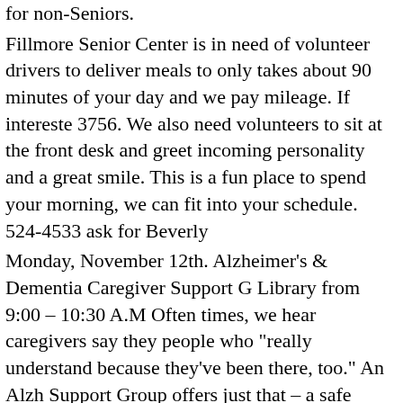for non-Seniors. Fillmore Senior Center is in need of volunteer drivers to deliver meals to only takes about 90 minutes of your day and we pay mileage. If intereste 3756. We also need volunteers to sit at the front desk and greet incoming personality and a great smile. This is a fun place to spend your morning, we can fit into your schedule. 524-4533 ask for Beverly Monday, November 12th. Alzheimer's & Dementia Caregiver Support G Library from 9:00 – 10:30 A.M Often times, we hear caregivers say they people who "really understand because they've been there, too." An Alzh Support Group offers just that – a safe place for caregivers, family and fr to meet and develop a mutual support system. It's a place to: Exchange p caregiving problems and possible solutions; Talk through challenges and needs and concerns; Learn about resources available in your community; by a trained individual if your interested you can contact Norma Feathers 524-4533 and let us know your coming. Calling all Crafters! Do you want to sell your creations? Well here's your money for the holidays. Our Annual Craft Fair is scheduled for Friday, N $15.00. Space is limited so hurry and reserve your table now! We have th 7AM, Doors open at 8AM to 1:00 PM. This Craft Fair is open to the pub that will make a great Christmas gift. For more information contact the F